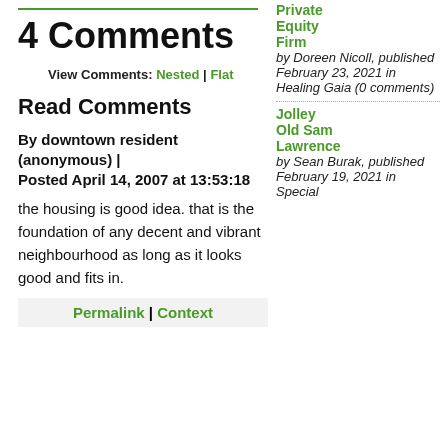4 Comments
View Comments: Nested | Flat
Read Comments
By downtown resident (anonymous) | Posted April 14, 2007 at 13:53:18
the housing is good idea. that is the foundation of any decent and vibrant neighbourhood as long as it looks good and fits in.
Permalink | Context
Private Equity Firm by Doreen Nicoll, published February 23, 2021 in Healing Gaia (0 comments)
Jolley Old Sam Lawrence by Sean Burak, published February 19, 2021 in Special